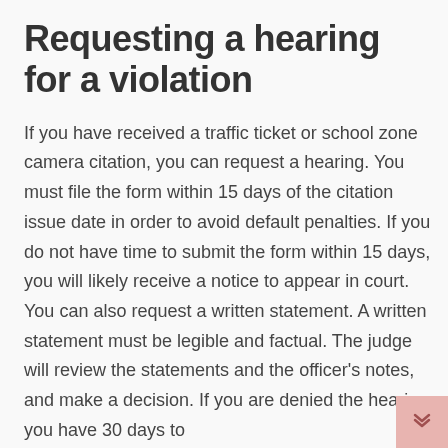Requesting a hearing for a violation
If you have received a traffic ticket or school zone camera citation, you can request a hearing. You must file the form within 15 days of the citation issue date in order to avoid default penalties. If you do not have time to submit the form within 15 days, you will likely receive a notice to appear in court. You can also request a written statement. A written statement must be legible and factual. The judge will review the statements and the officer's notes, and make a decision. If you are denied the hearing, you have 30 days to